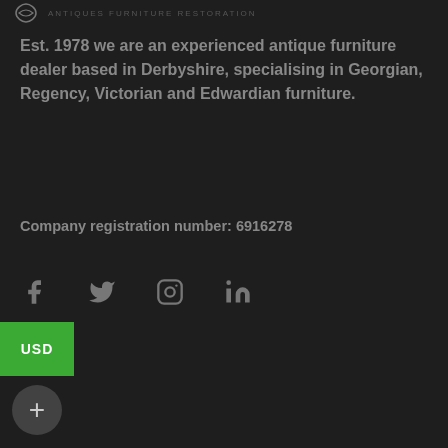antiques furniture restoration
Est. 1978 we are an experienced antique furniture dealer based in Derbyshire, specialising in Georgian, Regency, Victorian and Edwardian furniture.
Company registration number: 6916278
[Figure (infographic): Social media icons: Facebook, Twitter, Instagram, LinkedIn]
USD
[Figure (infographic): Plus button (circular dark gray button with + symbol)]
ANTIQUE PERIODS
George III 1760-1820
Regency 1811 -1820
George IV 1820-1830